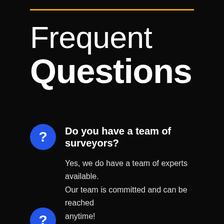Frequent Questions
Do you have a team of surveyors?
Yes, we do have a team of experts available. Our team is committed and can be reached anytime!